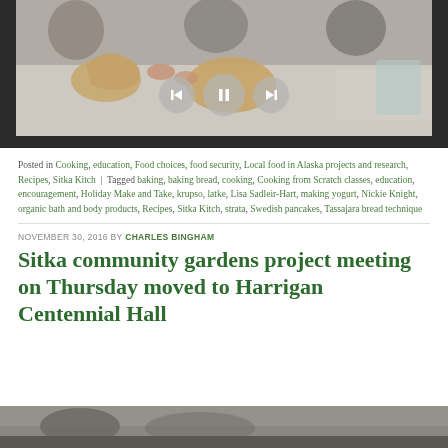[Figure (photo): Video player showing people working with bread dough on a table, with media player controls (back, pause, forward) overlaid]
Posted in Cooking, education, Food choices, food security, Local food in Alaska projects and research, Recipes, Sitka Kitch | Tagged baking, baking bread, cooking, Cooking from Scratch classes, education, encouragement, Holiday Make and Take, krupso, latke, Lisa Sadleir-Hart, making yogurt, Nickie Knight, organic bath and body products, Recipes, Sitka Kitch, strata, Swedish pancakes, Tassajara bread technique
NOVEMBER 30, 2016 BY CHARLES BINGHAM
Sitka community gardens project meeting on Thursday moved to Harrigan Centennial Hall
[Figure (photo): Bottom portion of a photo, partially visible, showing an outdoor or garden scene]